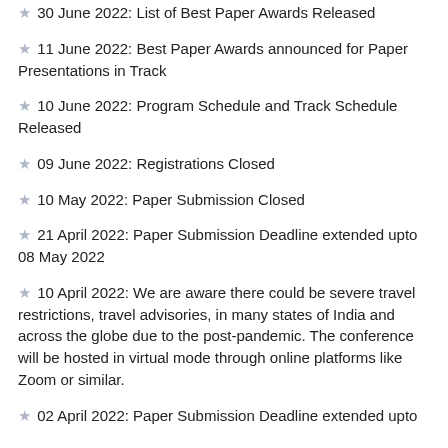30 June 2022: List of Best Paper Awards Released
11 June 2022: Best Paper Awards announced for Paper Presentations in Track
10 June 2022: Program Schedule and Track Schedule Released
09 June 2022: Registrations Closed
10 May 2022: Paper Submission Closed
21 April 2022: Paper Submission Deadline extended upto 08 May 2022
10 April 2022: We are aware there could be severe travel restrictions, travel advisories, in many states of India and across the globe due to the post-pandemic. The conference will be hosted in virtual mode through online platforms like Zoom or similar.
02 April 2022: Paper Submission Deadline extended upto